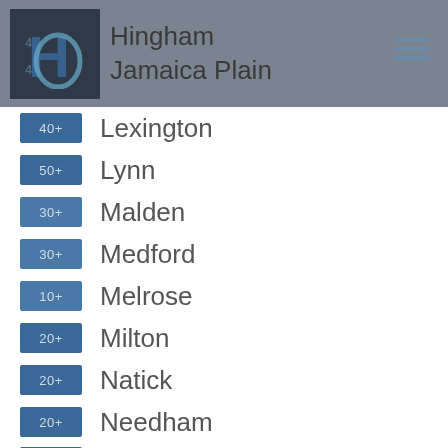Hingham | Jamaica Plain
40+ Lexington
50+ Lynn
30+ Malden
30+ Medford
10+ Melrose
20+ Milton
20+ Natick
20+ Needham
60+ Newton